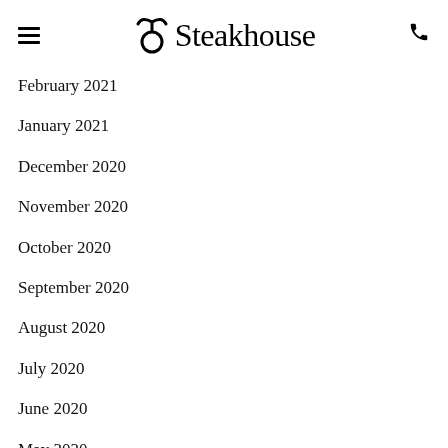≡ ♈ Steakhouse
February 2021
January 2021
December 2020
November 2020
October 2020
September 2020
August 2020
July 2020
June 2020
May 2020